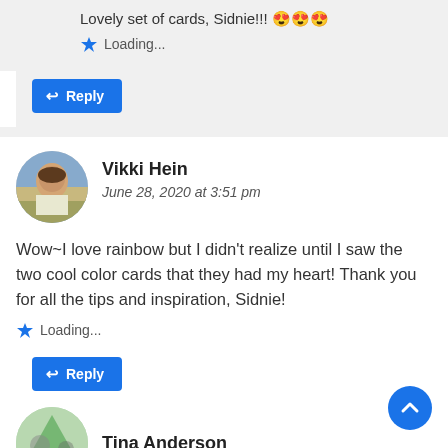Lovely set of cards, Sidnie!!! 😍😍😍
Loading...
Reply
Vikki Hein
June 28, 2020 at 3:51 pm
Wow~I love rainbow but I didn't realize until I saw the two cool color cards that they had my heart! Thank you for all the tips and inspiration, Sidnie!
Loading...
Reply
Tina Anderson